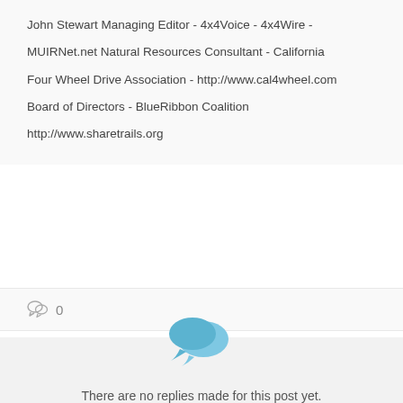John Stewart Managing Editor - 4x4Voice - 4x4Wire - MUIRNet.net Natural Resources Consultant - California Four Wheel Drive Association - http://www.cal4wheel.com Board of Directors - BlueRibbon Coalition http://www.sharetrails.org
0
[Figure (illustration): Two overlapping speech bubble chat icons in light blue color]
There are no replies made for this post yet. Be one of the first to reply to this post!